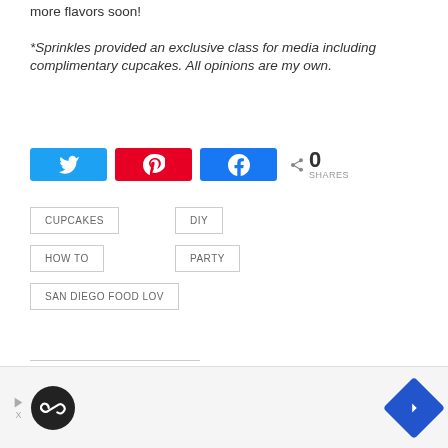more flavors soon!
*Sprinkles provided an exclusive class for media including complimentary cupcakes. All opinions are my own.
[Figure (infographic): Social share buttons: Twitter (blue), Pinterest (red), Facebook (blue), and a share count showing 0 SHARES]
CUPCAKES
DIY
HOW TO
PARTY
SAN DIEGO FOOD LOV
[Figure (infographic): Advertisement bar at bottom with infinity logo, play button, navigation arrow, and close X button]